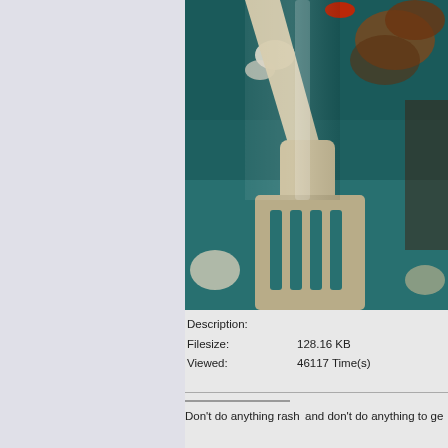[Figure (photo): Close-up photo of a metal fork on a teal/green plate with food remnants]
Description:
Filesize:    128.16 KB
Viewed:    46117 Time(s)
Don't do anything rash    and don't do anything to ge